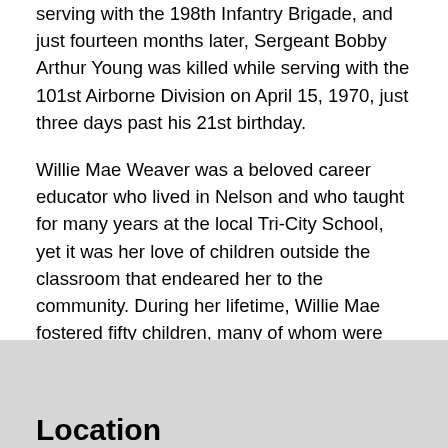serving with the 198th Infantry Brigade, and just fourteen months later, Sergeant Bobby Arthur Young was killed while serving with the 101st Airborne Division on April 15, 1970, just three days past his 21st birthday.
Willie Mae Weaver was a beloved career educator who lived in Nelson and who taught for many years at the local Tri-City School, yet it was her love of children outside the classroom that endeared her to the community. During her lifetime, Willie Mae fostered fifty children, many of whom were high-risk, and also adopted six, including four boys and two girls.
Location